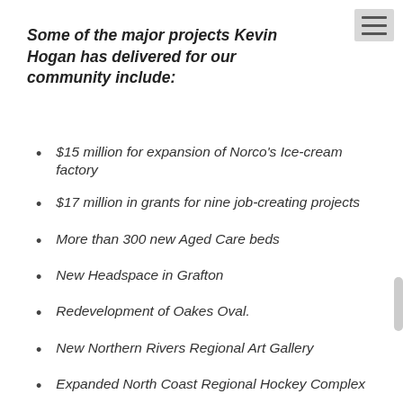Some of the major projects Kevin Hogan has delivered for our community include:
$15 million for expansion of Norco's Ice-cream factory
$17 million in grants for nine job-creating projects
More than 300 new Aged Care beds
New Headspace in Grafton
Redevelopment of Oakes Oval.
New Northern Rivers Regional Art Gallery
Expanded North Coast Regional Hockey Complex
Maclean Riverside Precinct
Casino Amphitheatre